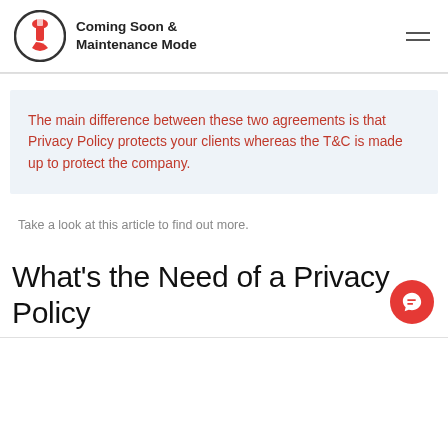Coming Soon & Maintenance Mode
The main difference between these two agreements is that Privacy Policy protects your clients whereas the T&C is made up to protect the company.
Take a look at this article to find out more.
What's the Need of a Privacy Policy